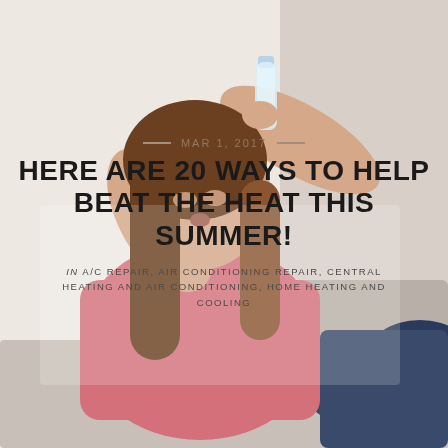[Figure (photo): Woman in pink top sitting and pressing a water bottle to her forehead, appearing overheated, with light background]
— MAR 1, 2017 —
HERE ARE 20 WAYS TO HELP BEAT THE HEAT THIS SUMMER!
IN A/C REPAIR, AIR CONDITIONING REPAIR, CENTRAL HEATING AND AIR CONDITIONING, HOME HEATING AND COOLING